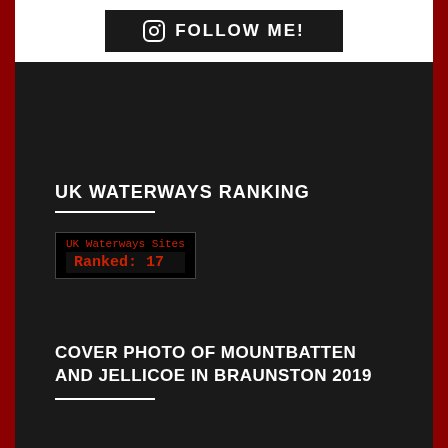[Figure (logo): Instagram follow me button with Instagram icon on dark background]
UK WATERWAYS RANKING
[Figure (infographic): UK Waterways Sites ranking badge showing Ranked: 17 in red monospace font on black background]
COVER PHOTO OF MOUNTBATTEN AND JELLICOE IN BRAUNSTON 2019